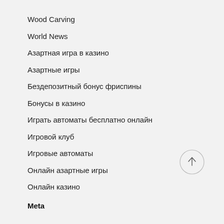Wood Carving
World News
Азартная игра в казино
Азартные игры
Бездепозитный бонус фриспины
Бонусы в казино
Играть автоматы бесплатно онлайн
Игровой клуб
Игровые автоматы
Онлайн азартные игры
Онлайн казино
Meta